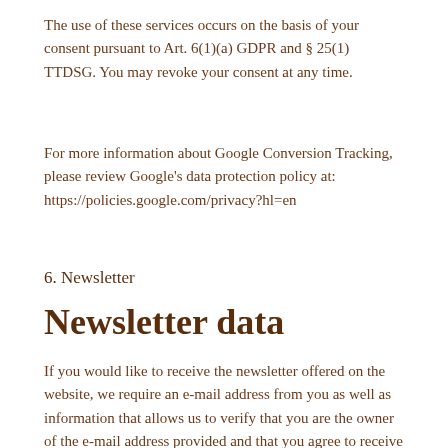The use of these services occurs on the basis of your consent pursuant to Art. 6(1)(a) GDPR and § 25(1) TTDSG. You may revoke your consent at any time.
For more information about Google Conversion Tracking, please review Google's data protection policy at: https://policies.google.com/privacy?hl=en
6. Newsletter
Newsletter data
If you would like to receive the newsletter offered on the website, we require an e-mail address from you as well as information that allows us to verify that you are the owner of the e-mail address provided and that you agree to receive the newsletter. Further data is not collected or only on a voluntary basis. For the